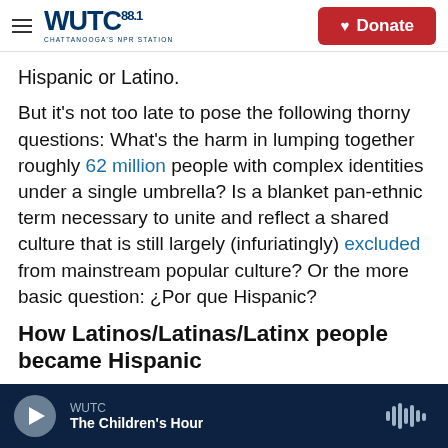WUTC 88.1 Chattanooga's NPR Station | Donate
Hispanic or Latino.
But it's not too late to pose the following thorny questions: What's the harm in lumping together roughly 62 million people with complex identities under a single umbrella? Is a blanket pan-ethnic term necessary to unite and reflect a shared culture that is still largely (infuriatingly) excluded from mainstream popular culture? Or the more basic question: ¿Por que Hispanic?
How Latinos/Latinas/Latinx people became Hispanic
WUTC | The Children's Hour